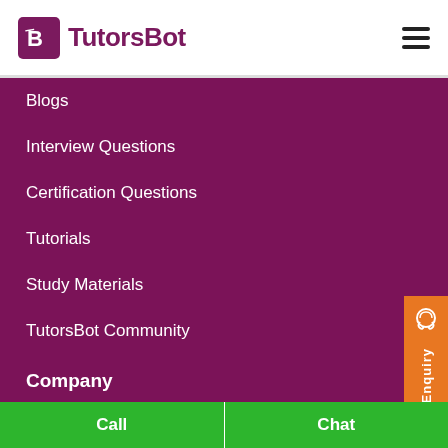[Figure (logo): TutorsBot logo with purple TB icon and TutorsBot text]
Blogs
Interview Questions
Certification Questions
Tutorials
Study Materials
TutorsBot Community
Company
About TutorsBot
Contact Us
[Figure (infographic): Orange Enquiry button on right side with headset icon]
Call  Chat